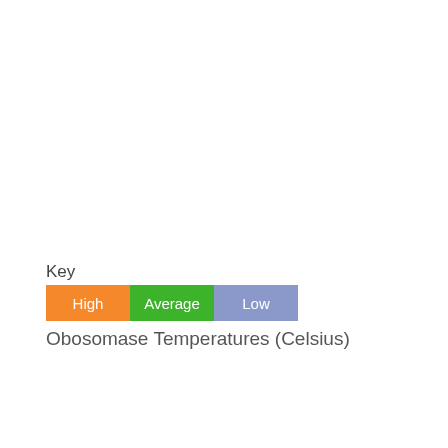Key
[Figure (other): Legend showing three colored boxes labeled High (orange), Average (green), Low (blue-gray)]
Obosomase Temperatures (Celsius)